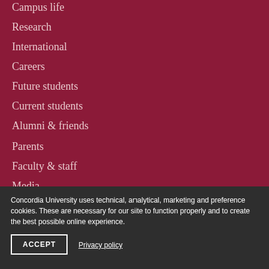Campus life
Research
International
Careers
Future students
Current students
Alumni & friends
Parents
Faculty & staff
Media
Concordia University uses technical, analytical, marketing and preference cookies. These are necessary for our site to function properly and to create the best possible online experience.
ACCEPT
Privacy policy